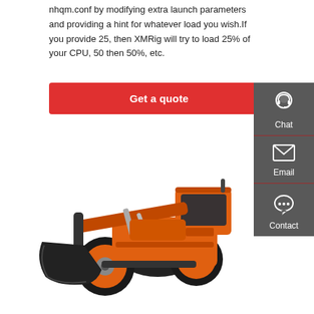nhqm.conf by modifying extra launch parameters and providing a hint for whatever load you wish.If you provide 25, then XMRig will try to load 25% of your CPU, 50 then 50%, etc.
Get a quote
[Figure (photo): Orange wheel loader / front-end loader construction machine (DOBOT brand) on white background]
[Figure (infographic): Sidebar with Chat, Email, Contact icons on dark grey background]